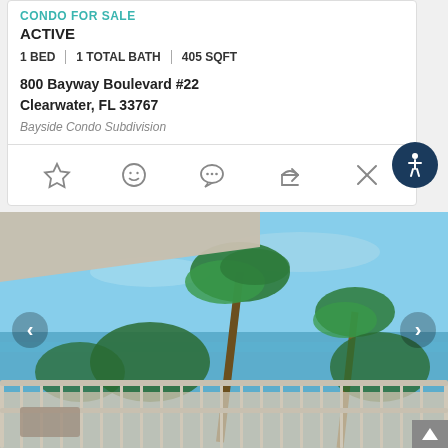CONDO FOR SALE
ACTIVE
1 BED | 1 TOTAL BATH | 405 SQFT
800 Bayway Boulevard #22
Clearwater, FL 33767
Bayside Condo Subdivision
[Figure (photo): Balcony view of waterway with palm trees and blue sky, Clearwater FL property photo]